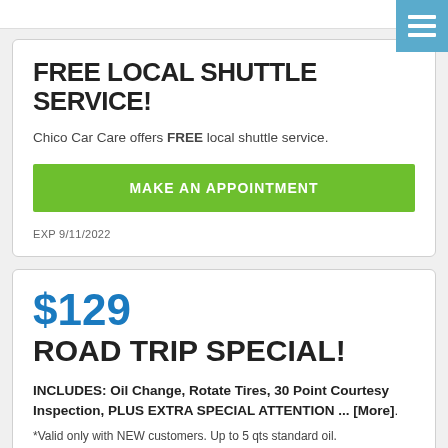[Figure (other): Hamburger menu icon (three white lines on blue-grey background) in top-right corner]
FREE LOCAL SHUTTLE SERVICE!
Chico Car Care offers FREE local shuttle service.
MAKE AN APPOINTMENT
EXP 9/11/2022
$129
ROAD TRIP SPECIAL!
INCLUDES: Oil Change, Rotate Tires, 30 Point Courtesy Inspection, PLUS EXTRA SPECIAL ATTENTION ... [More].
*Valid only with NEW customers. Up to 5 qts standard oil.
* Synthetic oil, specialty filters, or extensive disassembly for